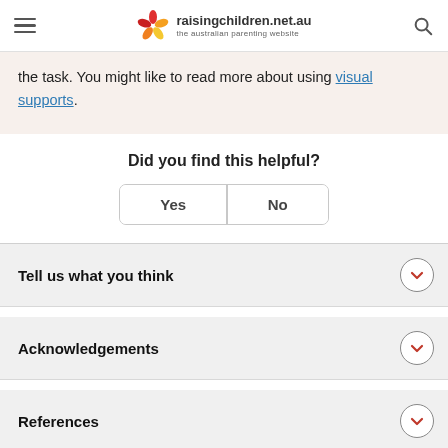raisingchildren.net.au — the australian parenting website
the task. You might like to read more about using visual supports.
Did you find this helpful?
Yes / No
Tell us what you think
Acknowledgements
References